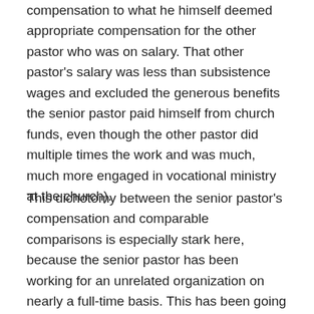compensation to what he himself deemed appropriate compensation for the other pastor who was on salary. That other pastor's salary was less than subsistence wages and excluded the generous benefits the senior pastor paid himself from church funds, even though the other pastor did multiple times the work and was much, much more engaged in vocational ministry at the church).
This dichotomy between the senior pastor's compensation and comparable comparisons is especially stark here, because the senior pastor has been working for an unrelated organization on nearly a full-time basis. This has been going on for at least several years. Yet during that time